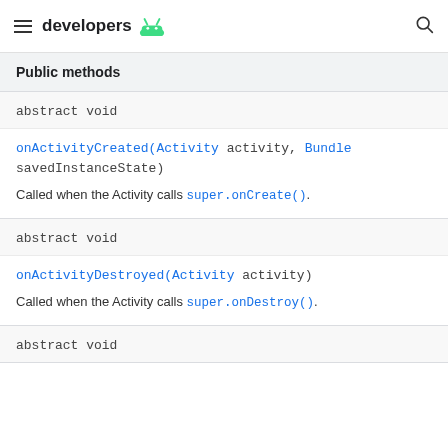developers
Public methods
abstract void
onActivityCreated(Activity activity, Bundle savedInstanceState)
Called when the Activity calls super.onCreate().
abstract void
onActivityDestroyed(Activity activity)
Called when the Activity calls super.onDestroy().
abstract void